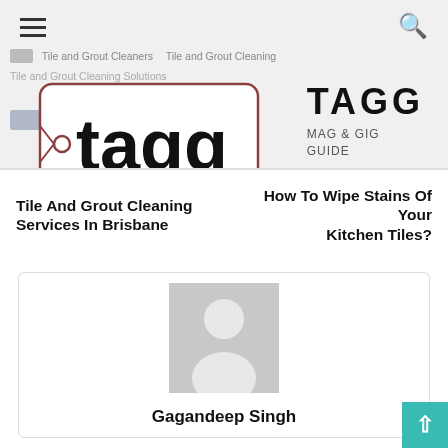TAGG MAG & GIG GUIDE — navigation header with logo
Tile and Grout Cleaners | Tile and Grout Cleaning | Tile and Grout Cleaning Solutions
[Figure (logo): Tagg magazine logo with price tag shape and tagg wordmark in bold lowercase, plus TAGG MAG & GIG GUIDE text]
Tile And Grout Cleaning Services In Brisbane
How To Wipe Stains Of Your Kitchen Tiles?
[Figure (photo): Default avatar placeholder — grey background with white silhouette of a person]
Gagandeep Singh